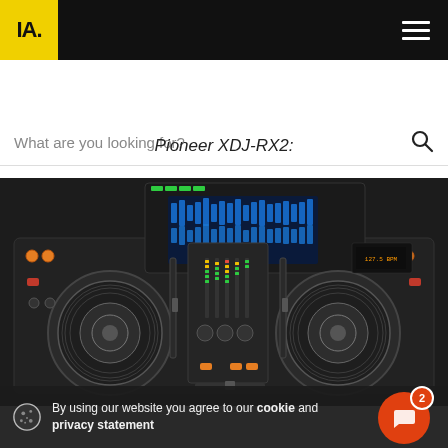IA. [logo] [hamburger menu]
What are you looking for?
(breadcrumb navigation links)
Pioneer XDJ-RX2:
[Figure (photo): Pioneer XDJ-RX2 DJ controller — a large all-in-one DJ system with two large jog wheels, a center mixer section with EQ knobs and faders, a touchscreen display at the top center showing waveforms, and various buttons and controls throughout]
By using our website you agree to our cookie and privacy statement